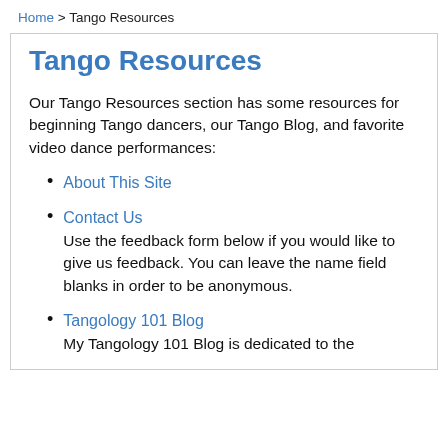Home > Tango Resources
Tango Resources
Our Tango Resources section has some resources for beginning Tango dancers, our Tango Blog, and favorite video dance performances:
About This Site
Contact Us
Use the feedback form below if you would like to give us feedback. You can leave the name field blanks in order to be anonymous.
Tangology 101 Blog
My Tangology 101 Blog is dedicated to the study of Argentine Tango and...